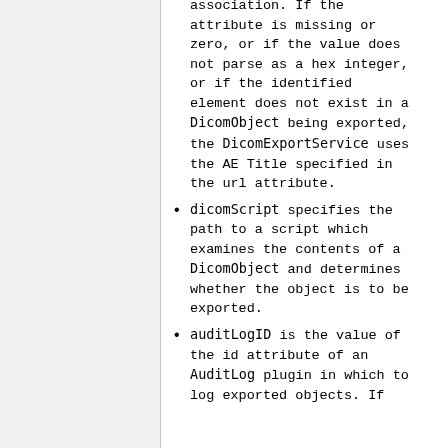association. If the attribute is missing or zero, or if the value does not parse as a hex integer, or if the identified element does not exist in a DicomObject being exported, the DicomExportService uses the AE Title specified in the url attribute.
dicomScript specifies the path to a script which examines the contents of a DicomObject and determines whether the object is to be exported.
auditLogID is the value of the id attribute of an AuditLog plugin in which to log exported objects. If